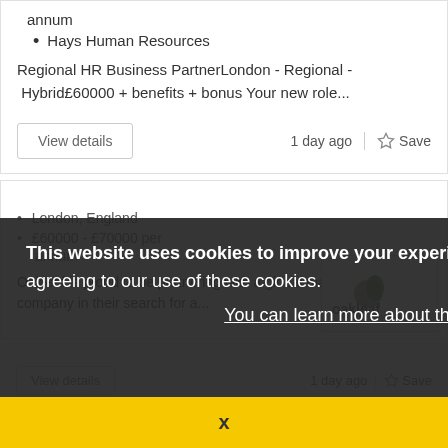annum
Hays Human Resources
Regional HR Business PartnerLondon - Regional - Hybrid£60000 + benefits + bonus Your new role...
View details
1 day ago  Save
[Figure (screenshot): Dark cookie consent overlay with text: 'This website uses cookies to improve your experience. By continuing to browse this site you are agreeing to our use of these cookies. You can learn more about the cookies we use here.' with yellow X close button bar at bottom. Behind overlay: job listing with London, England location, £60000-£70000 per annum salary, Oakleaf logo, job description text, and 1 day ago / Save footer.]